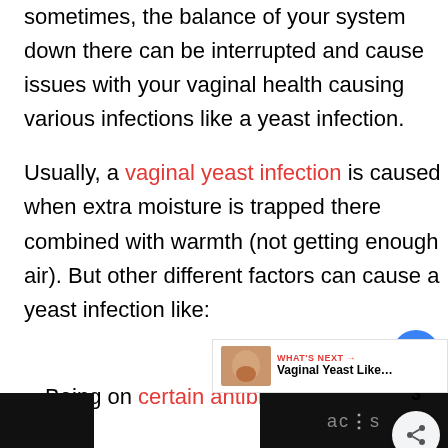sometimes, the balance of your system down there can be interrupted and cause issues with your vaginal health causing various infections like a yeast infection.
Usually, a vaginal yeast infection is caused when extra moisture is trapped there combined with warmth (not getting enough air). But other different factors can cause a yeast infection like:
Being on certain antibiotics can